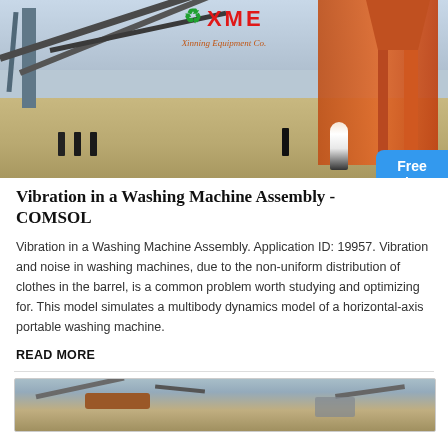[Figure (photo): Industrial mining/crushing plant facility with conveyors, cranes, and orange metal structures. XME brand logo overlaid at top center with green recycling symbol. Workers visible in foreground. Chat widget overlay at lower right.]
Vibration in a Washing Machine Assembly - COMSOL
Vibration in a Washing Machine Assembly. Application ID: 19957. Vibration and noise in washing machines, due to the non-uniform distribution of clothes in the barrel, is a common problem worth studying and optimizing for. This model simulates a multibody dynamics model of a horizontal-axis portable washing machine.
READ MORE
[Figure (photo): Another industrial plant/quarry facility photo, showing conveyors and equipment from an aerial or elevated angle.]